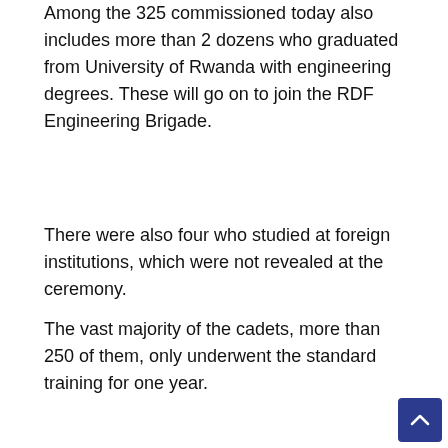Among the 325 commissioned today also includes more than 2 dozens who graduated from University of Rwanda with engineering degrees. These will go on to join the RDF Engineering Brigade.
There were also four who studied at foreign institutions, which were not revealed at the ceremony.
The vast majority of the cadets, more than 250 of them, only underwent the standard training for one year.
[Figure (illustration): Social media sharing icons: Twitter (blue circle), Facebook (dark blue circle), WhatsApp (green circle)]
We can't do quality journalism without your